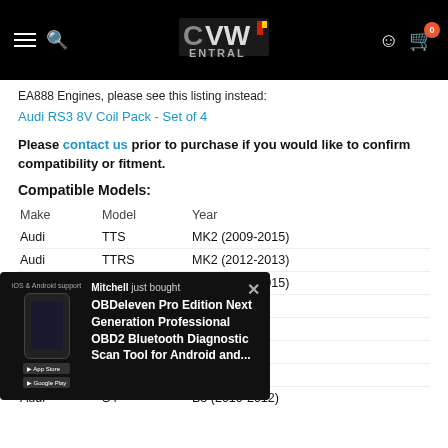VW Central - navigation header with logo, hamburger menu, search, user icon, cart (0)
EA888 Engines, please see this listing instead:
Audi RS3 8V Coil Pack - Set of 4
Please contact us prior to purchase if you would like to confirm compatibility or fitment.
Compatible Models:
| Make | Model | Year |
| --- | --- | --- |
| Audi | TTS | MK2 (2009-2015) |
| Audi | TTRS | MK2 (2012-2013) |
| Audi | TT | MK2 (2008-2015) |
| Audi |  | (8-2015) |
| Audi |  | (11) |
| Audi |  | (2012) |
| Audi |  | (3-2016) |
| Audi | S4 | B8 (2010-2012) |
[Figure (screenshot): Popup notification showing 'Mitchell just bought OBDeleven Pro Edition Next Generation Professional OBD2 Bluetooth Diagnostic Scan Tool for Android and...' with iOS & Android support banner and close button]